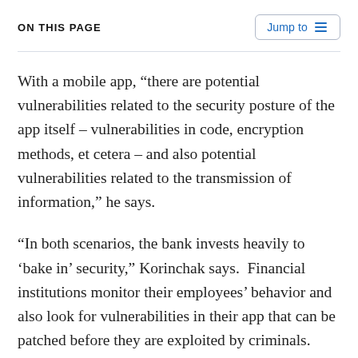ON THIS PAGE
With a mobile app, “there are potential vulnerabilities related to the security posture of the app itself – vulnerabilities in code, encryption methods, et cetera – and also potential vulnerabilities related to the transmission of information,” he says.
“In both scenarios, the bank invests heavily to ‘bake in’ security,” Korinchak says.  Financial institutions monitor their employees’ behavior and also look for vulnerabilities in their app that can be patched before they are exploited by criminals.